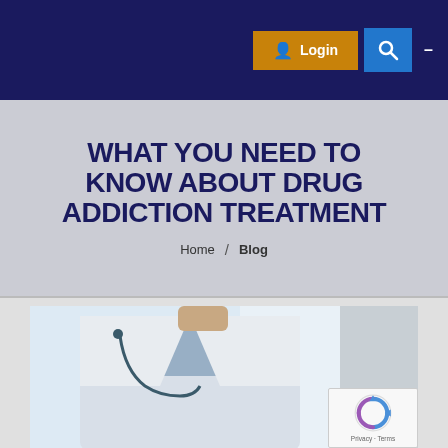Login | Search | Menu
WHAT YOU NEED TO KNOW ABOUT DRUG ADDICTION TREATMENT
Home / Blog
[Figure (photo): Doctor in white coat with stethoscope, partial view of torso, clinical setting with white background]